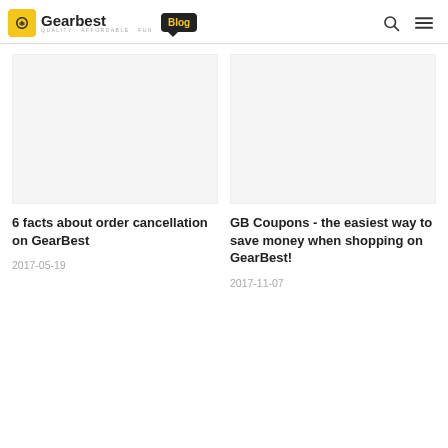GearBest Blog - QUALITY · AFFORDABLE · FUN
6 facts about order cancellation on GearBest
2017-05-19
GB Coupons - the easiest way to save money when shopping on GearBest!
2017-11-07